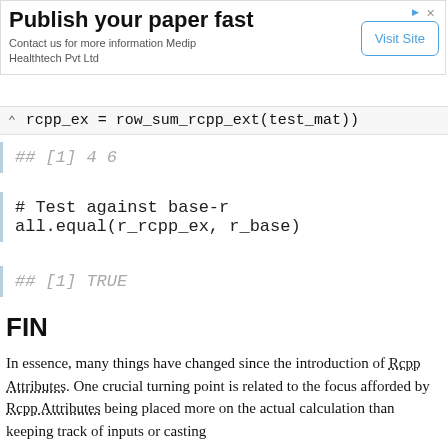[Figure (other): Advertisement banner: 'Publish your paper fast. Contact us for more information Medip Healthtech Pvt Ltd' with a 'Visit Site' button.]
rcpp_ex = row_sum_rcpp_ext(test_mat))
## [1] 4 6
# Test against base-r
all.equal(r_rcpp_ex, r_base)
## [1] TRUE
FIN
In essence, many things have changed since the introduction of Rcpp Attributes. One crucial turning point is related to the focus afforded by Rcpp Attributes being placed more on the actual calculation than keeping track of inputs or casting